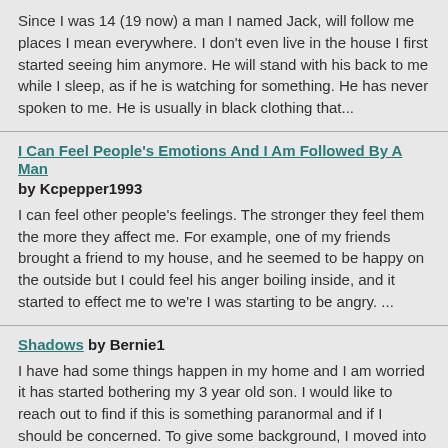Since I was 14 (19 now) a man I named Jack, will follow me places I mean everywhere. I don't even live in the house I first started seeing him anymore. He will stand with his back to me while I sleep, as if he is watching for something. He has never spoken to me. He is usually in black clothing that...
I Can Feel People's Emotions And I Am Followed By A Man by Kcpepper1993
I can feel other people's feelings. The stronger they feel them the more they affect me. For example, one of my friends brought a friend to my house, and he seemed to be happy on the outside but I could feel his anger boiling inside, and it started to effect me to we're I was starting to be angry. ...
Shadows by Bernie1
I have had some things happen in my home and I am worried it has started bothering my 3 year old son. I would like to reach out to find if this is something paranormal and if I should be concerned. To give some background, I moved into the home about 3 1/2 years ago with my son and husband. It ha...
Falling And Father's Life by bloodredrose
Lets start this story. I have submitted other stories that do not